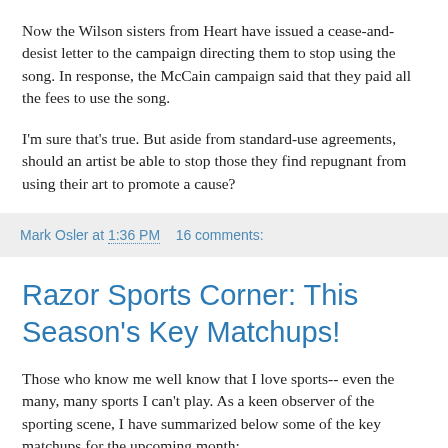Now the Wilson sisters from Heart have issued a cease-and-desist letter to the campaign directing them to stop using the song. In response, the McCain campaign said that they paid all the fees to use the song.
I'm sure that's true. But aside from standard-use agreements, should an artist be able to stop those they find repugnant from using their art to promote a cause?
Mark Osler at 1:36 PM   16 comments:
Razor Sports Corner: This Season's Key Matchups!
Those who know me well know that I love sports-- even the many, many sports I can't play. As a keen observer of the sporting scene, I have summarized below some of the key matchups for the upcoming month: